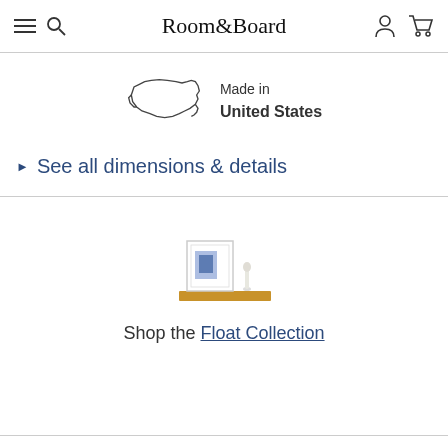Room&Board
[Figure (illustration): Outline map of the United States with text 'Made in United States' beside it]
See all dimensions & details
[Figure (photo): A wooden floating shelf with a framed blue artwork print and a small white figurine on top]
Shop the Float Collection